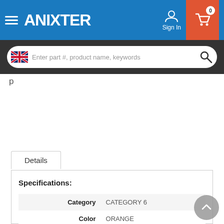ANIXTER - Sign In - Cart (0)
[Figure (screenshot): Anixter website navigation bar with hamburger menu, Anixter logo, Sign In user icon, and cart button with badge showing 0]
[Figure (screenshot): Search bar with UK flag icon and placeholder text: Enter part #, product name, keywords]
Details
|  |  |
| --- | --- |
| Category | CATEGORY 6 |
| Color | ORANGE |
| Connector Type | RJ45 TO OTHER |